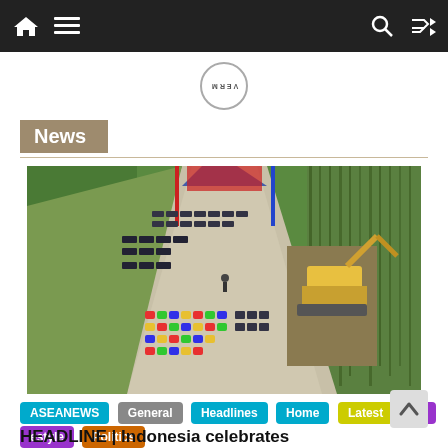Navigation bar with home, menu, search, and shuffle icons
[Figure (logo): Circular logo with text VERM partially visible, rotated]
News
[Figure (photo): Aerial view of an outdoor ceremony in Indonesia with rows of people in uniform, colorful hard hats, banners, and a yellow excavator, surrounded by green forest]
ASEANEWS
General
Headlines
Home
Latest
Lifestyle
Politics
HEADLINE | Indonesia celebrates